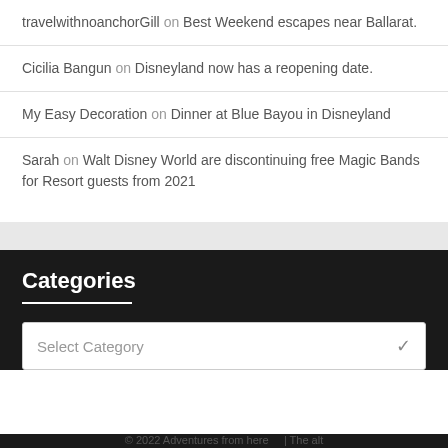travelwithnoanchorGill on Best Weekend escapes near Ballarat.
Cicilia Bangun on Disneyland now has a reopening date.
My Easy Decoration on Dinner at Blue Bayou in Disneyland
Sarah on Walt Disney World are discontinuing free Magic Bands for Resort guests from 2021
Categories
Select Category
© 2022 Adventures from here...     | The alt